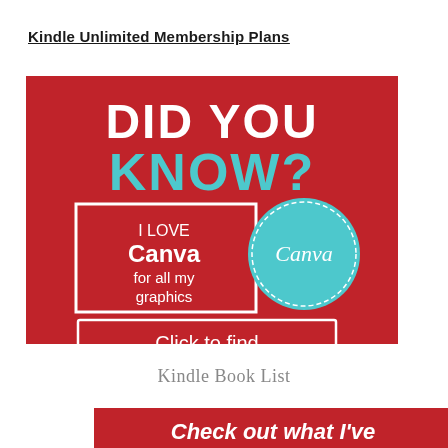Kindle Unlimited Membership Plans
[Figure (illustration): Red promotional graphic with 'DID YOU KNOW?' text in white and teal, featuring a box with 'I LOVE Canva for all my graphics' and a Canva logo badge, plus a white-outlined button 'Click to find out more']
Kindle Book List
Check out what I've